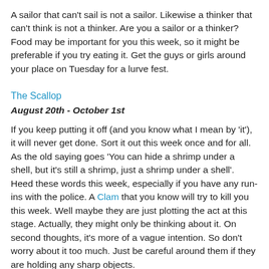A sailor that can't sail is not a sailor. Likewise a thinker that can't think is not a thinker. Are you a sailor or a thinker? Food may be important for you this week, so it might be preferable if you try eating it. Get the guys or girls around your place on Tuesday for a lurve fest.
The Scallop
August 20th - October 1st
If you keep putting it off (and you know what I mean by 'it'), it will never get done. Sort it out this week once and for all. As the old saying goes 'You can hide a shrimp under a shell, but it's still a shrimp, just a shrimp under a shell'. Heed these words this week, especially if you have any run-ins with the police. A Clam that you know will try to kill you this week. Well maybe they are just plotting the act at this stage. Actually, they might only be thinking about it. On second thoughts, it's more of a vague intention. So don't worry about it too much. Just be careful around them if they are holding any sharp objects.